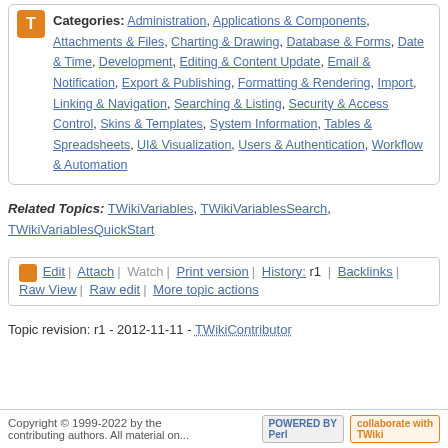Categories: Administration, Applications & Components, Attachments & Files, Charting & Drawing, Database & Forms, Date & Time, Development, Editing & Content Update, Email & Notification, Export & Publishing, Formatting & Rendering, Import, Linking & Navigation, Searching & Listing, Security & Access Control, Skins & Templates, System Information, Tables & Spreadsheets, UI& Visualization, Users & Authentication, Workflow & Automation
Related Topics: TWikiVariables, TWikiVariablesSearch, TWikiVariablesQuickStart
Edit | Attach | Watch | Print version | History: r1 | Backlinks | Raw View | Raw edit | More topic actions
Topic revision: r1 - 2012-11-11 - TWikiContributor
Copyright © 1999-2022 by the contributing authors. All material on... Powered by Perl. Collaborate with TWiki.